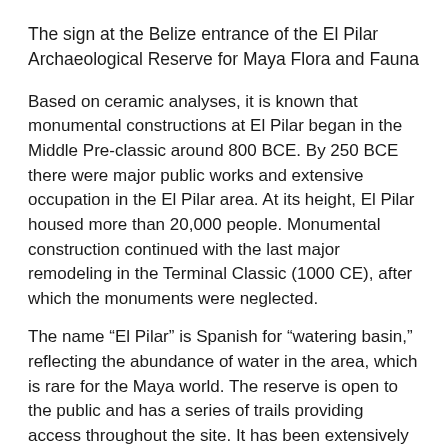The sign at the Belize entrance of the El Pilar Archaeological Reserve for Maya Flora and Fauna
Based on ceramic analyses, it is known that monumental constructions at El Pilar began in the Middle Pre-classic around 800 BCE. By 250 BCE there were major public works and extensive occupation in the El Pilar area. At its height, El Pilar housed more than 20,000 people. Monumental construction continued with the last major remodeling in the Terminal Classic (1000 CE), after which the monuments were neglected.
The name “El Pilar” is Spanish for “watering basin,” reflecting the abundance of water in the area, which is rare for the Maya world. The reserve is open to the public and has a series of trails providing access throughout the site. It has been extensively excavated, however, for conservation purposes most monuments are not exposed. The objective is to selectively and partially expose strategic areas. Today one can see door jambs, walls, and rooms along the wooded trails. This is a style of presentation known as Archaeology Under the